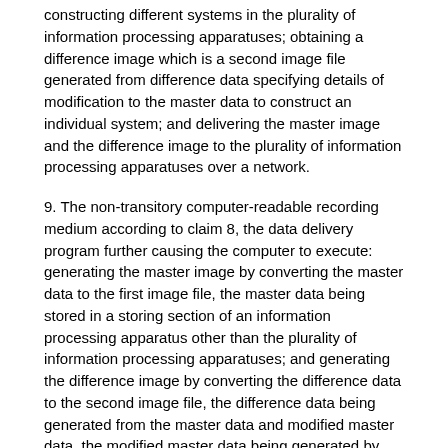constructing different systems in the plurality of information processing apparatuses; obtaining a difference image which is a second image file generated from difference data specifying details of modification to the master data to construct an individual system; and delivering the master image and the difference image to the plurality of information processing apparatuses over a network.
9. The non-transitory computer-readable recording medium according to claim 8, the data delivery program further causing the computer to execute: generating the master image by converting the master data to the first image file, the master data being stored in a storing section of an information processing apparatus other than the plurality of information processing apparatuses; and generating the difference image by converting the difference data to the second image file, the difference data being generated from the master data and modified master data, the modified master data being generated by modifying the master data to construct the individual system.
10. The non-transitory computer-readable recording medium according to claim 8, the data delivery program further causing the computer to execute: delivering a deployment program executable by each of the plurality of information processing apparatuses to the plurality of information